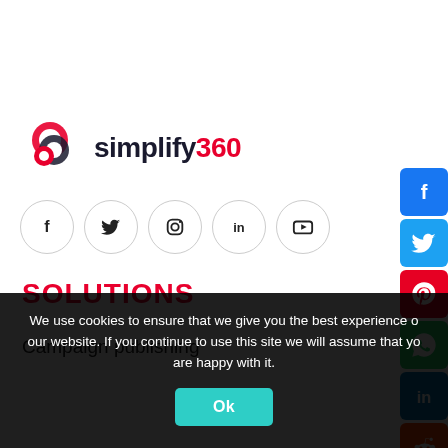[Figure (logo): Simplify360 logo with red swirl icon and bold text 'simplify360' where '360' is in red]
[Figure (infographic): Row of social media icons in circles: Facebook (f), Twitter (bird), Instagram (camera), LinkedIn (in), YouTube (play button)]
SOLUTIONS
Campaign publishing
[Figure (infographic): Vertical column of social share buttons on right side: Facebook (blue), Twitter (light blue), Pinterest (red), WhatsApp (green), LinkedIn (blue), Reddit (orange)]
We use cookies to ensure that we give you the best experience on our website. If you continue to use this site we will assume that you are happy with it.